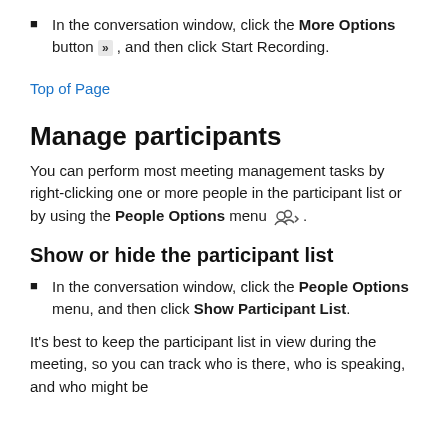In the conversation window, click the More Options button »  , and then click Start Recording.
Top of Page
Manage participants
You can perform most meeting management tasks by right-clicking one or more people in the participant list or by using the People Options menu .
Show or hide the participant list
In the conversation window, click the People Options menu, and then click Show Participant List.
It's best to keep the participant list in view during the meeting, so you can track who is there, who is speaking, and who might be